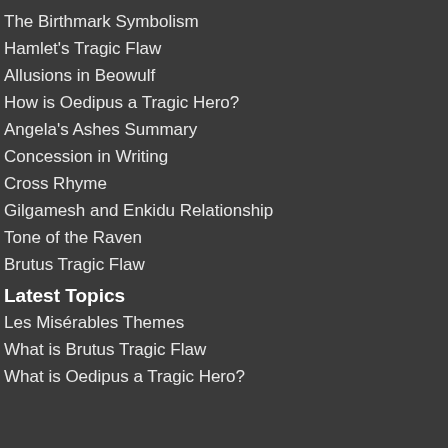The Birthmark Symbolism
Hamlet's Tragic Flaw
Allusions in Beowulf
How is Oedipus a Tragic Hero?
Angela's Ashes Summary
Concession in Writing
Cross Rhyme
Gilgamesh and Enkidu Relationship
Tone of the Raven
Brutus Tragic Flaw
Latest Topics
Les Misérables Themes
What is Brutus Tragic Flaw
What is Oedipus a Tragic Hero?